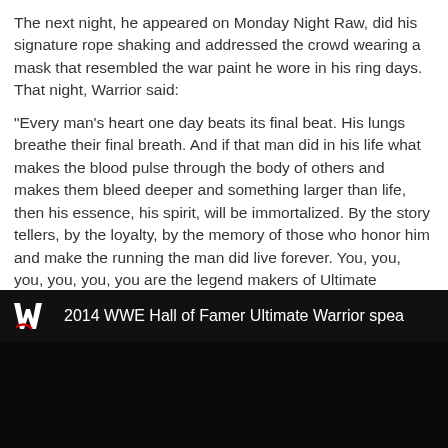The next night, he appeared on Monday Night Raw, did his signature rope shaking and addressed the crowd wearing a mask that resembled the war paint he wore in his ring days. That night, Warrior said:
"Every man's heart one day beats its final beat. His lungs breathe their final breath. And if that man did in his life what makes the blood pulse through the body of others and makes them bleed deeper and something larger than life, then his essence, his spirit, will be immortalized. By the story tellers, by the loyalty, by the memory of those who honor him and make the running the man did live forever. You, you, you, you, you, you are the legend makers of Ultimate Warrior."
[Figure (screenshot): YouTube video thumbnail showing WWE logo and title '2014 WWE Hall of Famer Ultimate Warrior spea' on a black background]